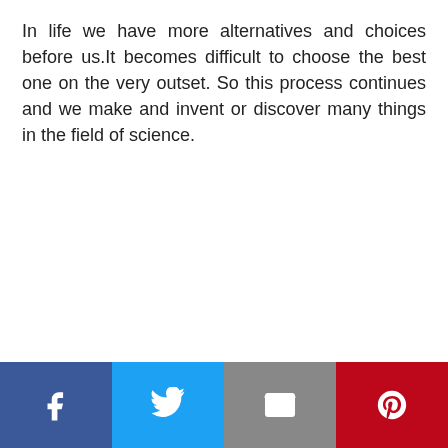In life we have more alternatives and choices before us.It becomes difficult to choose the best one on the very outset. So this process continues and we make and invent or discover many things in the field of science.
[Figure (infographic): Social sharing bar with four buttons: Facebook (blue, f icon), Twitter (light blue, bird icon), Email (gray, envelope icon), Pinterest (red, P icon)]